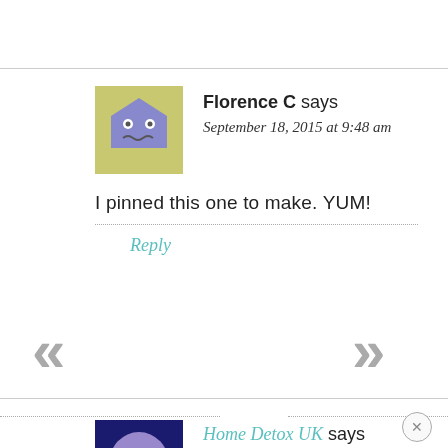[Figure (illustration): Avatar of Florence C — a cartoon pentagon-shaped face with eyes and wavy mouth on yellow-green background]
Florence C says
September 18, 2015 at 9:48 am
I pinned this one to make. YUM!
Reply
[Figure (illustration): Navigation left double-arrow chevron (grey)]
[Figure (illustration): Navigation right double-arrow chevron (grey)]
[Figure (illustration): Avatar of Home Detox UK — a cartoon round face with dots for eyes on dark blue background]
Home Detox UK says
November 4, 2015 at 4:47 pm
This is on the menu for tomorrow! Very excited :)